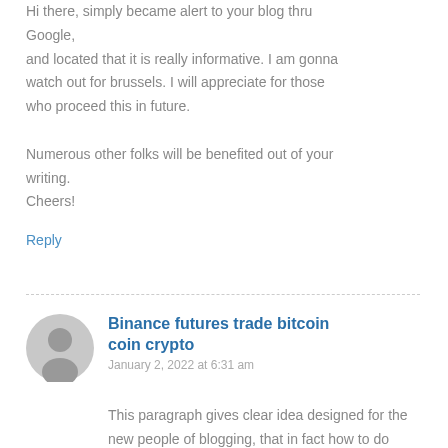Hi there, simply became alert to your blog thru Google, and located that it is really informative. I am gonna watch out for brussels. I will appreciate for those who proceed this in future. Numerous other folks will be benefited out of your writing. Cheers!
Reply
Binance futures trade bitcoin coin crypto
January 2, 2022 at 6:31 am
This paragraph gives clear idea designed for the new people of blogging, that in fact how to do